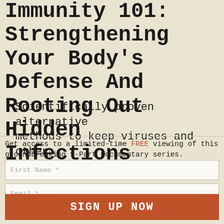Immunity 101: Strengthening Your Body's Defense And Rooting Out Hidden Infections
Scientifically proven alternative methods to keep viruses and other [partially visible]
Get access to a limited-time FREE viewing of this groundbreaking 9-Part Documentary series.
First Name *
Email *
Highly Recommended – Please sign me up for VIP alerts and text messages!
SIGN UP NOW